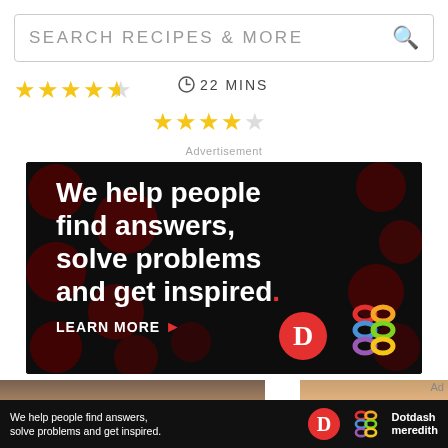SEARCH RECIPES & MORE
[Figure (other): Star rating row 1: 4.5 stars out of 5]
22 MINS
[Figure (other): Star rating row 2: 4 stars out of 5]
Advertisement
[Figure (advertisement): Dotdash Meredith advertisement banner: dark background with red polka dots. Large white bold text reads 'We help people find answers, solve problems and get inspired.' with a red period. Below: 'LEARN MORE' with arrow, Dotdash logo (red circle with D) and Meredith colorful knot logo.]
[Figure (advertisement): Bottom banner ad: dark background, text 'We help people find answers, solve problems and get inspired.' with Dotdash and Meredith logos on the right.]